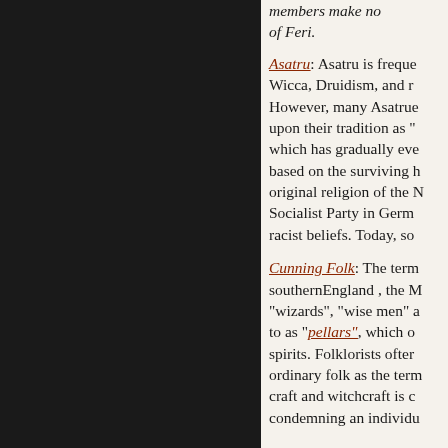members make no of Feri.
Asatru: Asatru is frequently grouped alongside Wicca, Druidism, and related movements. However, many Asatrue look upon their tradition as "... which has gradually evolved based on the surviving historical original religion of the ... Socialist Party in Germany ... racist beliefs. Today, so...
Cunning Folk: The term ... southernEngland , the M... "wizards", "wise men" ... to as "pellars", which o... spirits. Folklorists often... ordinary folk as the term... craft and witchcraft is c... condemning an individu...